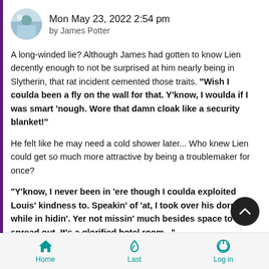Mon May 23, 2022 2:54 pm by James Potter
A long-winded lie? Although James had gotten to know Lien decently enough to not be surprised at him nearly being in Slytherin, that rat incident cemented those traits. "Wish I coulda been a fly on the wall for that. Y'know, I woulda if I was smart 'nough. Wore that damn cloak like a security blanket!"
He felt like he may need a cold shower later... Who knew Lien could get so much more attractive by being a troublemaker for once?
"Y'know, I never been in 'ere though I coulda exploited Louis' kindness to. Speakin' of 'at, I took over his dorm while in hidin'. Yer not missin' much besides space to spread out. It's a glorified hotel room..."
Home  Last  Log in